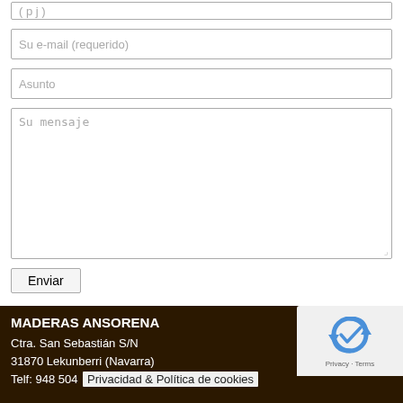[Figure (screenshot): Partial web contact form showing a cut-off input field at top, followed by email field (Su e-mail requerido), subject field (Asunto), and a large message textarea (Su mensaje), with an Enviar button below.]
Actualidad
MADERAS ANSORENA
Ctra. San Sebastián S/N
31870 Lekunberri (Navarra)
Telf: 948 504
Privacidad & Política de cookies
[Figure (logo): reCAPTCHA logo with Privacy · Terms text]